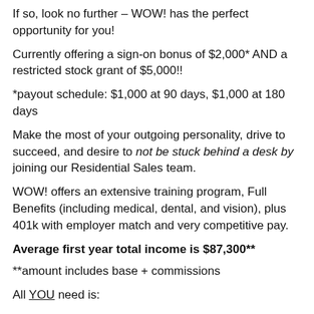If so, look no further – WOW! has the perfect opportunity for you!
Currently offering a sign-on bonus of $2,000* AND a restricted stock grant of $5,000!!
*payout schedule: $1,000 at 90 days, $1,000 at 180 days
Make the most of your outgoing personality, drive to succeed, and desire to not be stuck behind a desk by joining our Residential Sales team.
WOW! offers an extensive training program, Full Benefits (including medical, dental, and vision), plus 401k with employer match and very competitive pay.
Average first year total income is $87,300**
**amount includes base + commissions
All YOU need is:
The ability to self-motivate
The ability to work beyond business hours which